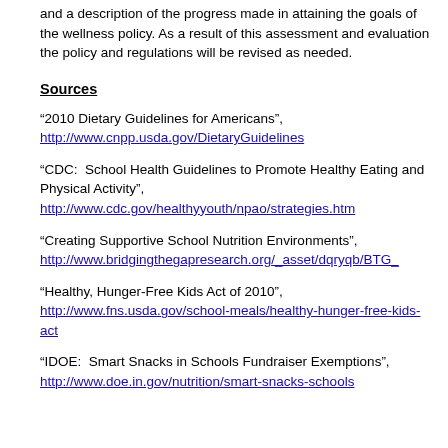and a description of the progress made in attaining the goals of the wellness policy. As a result of this assessment and evaluation the policy and regulations will be revised as needed.
Sources
“2010 Dietary Guidelines for Americans”, http://www.cnpp.usda.gov/DietaryGuidelines
“CDC:  School Health Guidelines to Promote Healthy Eating and Physical Activity”, http://www.cdc.gov/healthyyouth/npao/strategies.htm
“Creating Supportive School Nutrition Environments”, http://www.bridgingthegapresearch.org/_asset/dqryqb/BTG_
“Healthy, Hunger-Free Kids Act of 2010”, http://www.fns.usda.gov/school-meals/healthy-hunger-free-kids-act
“IDOE:  Smart Snacks in Schools Fundraiser Exemptions”, http://www.doe.in.gov/nutrition/smart-snacks-schools